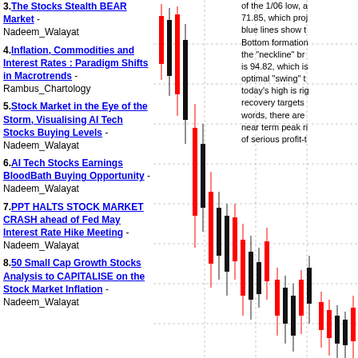3. The Stocks Stealth BEAR Market - Nadeem_Walayat
4. Inflation, Commodities and Interest Rates : Paradigm Shifts in Macrotrends - Rambus_Chartology
5. Stock Market in the Eye of the Storm, Visualising AI Tech Stocks Buying Levels - Nadeem_Walayat
6. AI Tech Stocks Earnings BloodBath Buying Opportunity - Nadeem_Walayat
7. PPT HALTS STOCK MARKET CRASH ahead of Fed May Interest Rate Hike Meeting - Nadeem_Walayat
8. 50 Small Cap Growth Stocks Analysis to CAPITALISE on the Stock Market Inflation - Nadeem_Walayat
[Figure (continuous-plot): Stock market candlestick chart showing price action with black and red candles, depicting a volatile declining then recovering market pattern with dotted horizontal gridlines on white background]
of the 1/06 low, and 71.85, which proj... blue lines show th... Bottom formation... the "neckline" br... is 94.82, which is... optimal "swing" t... today's high is rig... recovery targets ... words, there are ... near term peak ri... of serious profit-t...